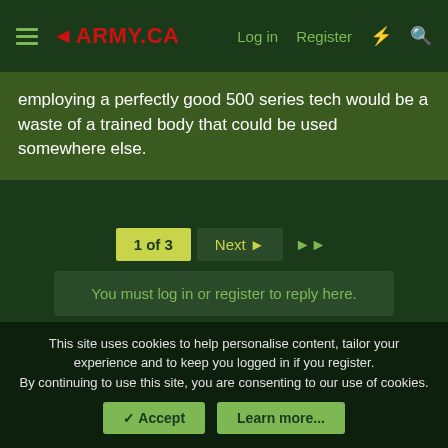◄ARMY.CA  Log in  Register
employing a perfectly good 500 series tech would be a waste of a trained body that could be used somewhere else.
1 of 3  Next ▶  ▶▶
You must log in or register to reply here.
Similar threads
Would I be "wasting" my engineering degree?
Benedict77 · Recruiting
Replies: 5 · 10 Dec 2021
This site uses cookies to help personalise content, tailor your experience and to keep you logged in if you register.
By continuing to use this site, you are consenting to our use of cookies.
✓ Accept  Learn more...